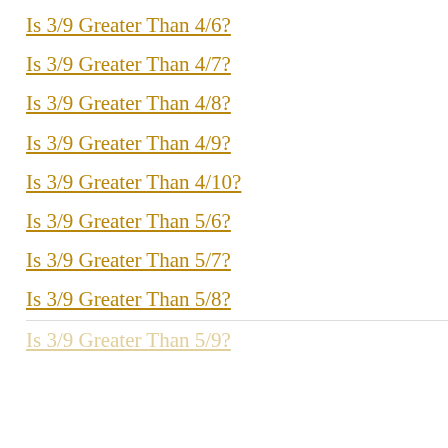Is 3/9 Greater Than 4/6?
Is 3/9 Greater Than 4/7?
Is 3/9 Greater Than 4/8?
Is 3/9 Greater Than 4/9?
Is 3/9 Greater Than 4/10?
Is 3/9 Greater Than 5/6?
Is 3/9 Greater Than 5/7?
Is 3/9 Greater Than 5/8?
Is 3/9 Greater Than 5/9?